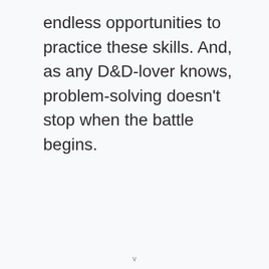endless opportunities to practice these skills. And, as any D&D-lover knows, problem-solving doesn't stop when the battle begins.
v